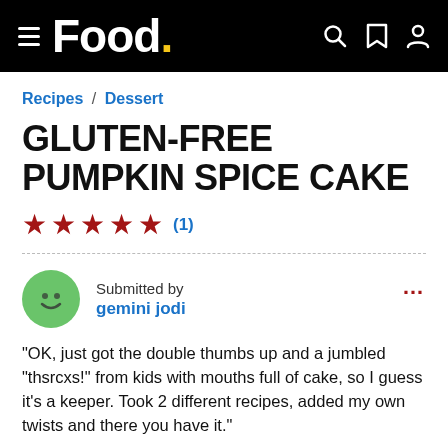Food.
Recipes / Dessert
GLUTEN-FREE PUMPKIN SPICE CAKE
★★★★★ (1)
Submitted by gemini jodi
"OK, just got the double thumbs up and a jumbled "thsrcxs!" from kids with mouths full of cake, so I guess it's a keeper. Took 2 different recipes, added my own twists and there you have it."